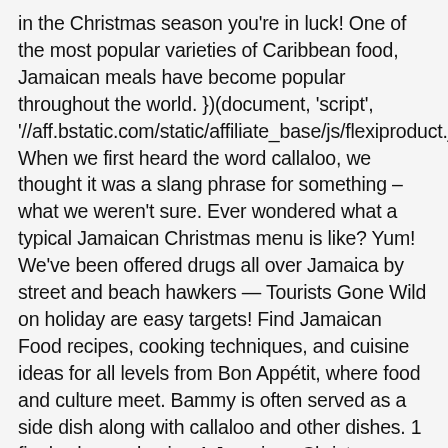in the Christmas season you're in luck! One of the most popular varieties of Caribbean food, Jamaican meals have become popular throughout the world. })(document, 'script', '//aff.bstatic.com/static/affiliate_base/js/flexiproduct.js'); When we first heard the word callaloo, we thought it was a slang phrase for something – what we weren't sure. Ever wondered what a typical Jamaican Christmas menu is like? Yum! We've been offered drugs all over Jamaica by street and beach hawkers — Tourists Gone Wild on holiday are easy targets! Find Jamaican Food recipes, cooking techniques, and cuisine ideas for all levels from Bon Appétit, where food and culture meet. Bammy is often served as a side dish along with callaloo and other dishes. 1 finely chopped onion A Jamaican Christmas dinner menu wouldn't be complete without Jamaican Christmas Ham! 604-541-7289. 1 thinly sliced spring onion 2/3 cup white wine vinegar 12 Fun Things to Do in Ocho Rios, Jamaica, Plan a Trip to Jamaica | 8 Tips for What to See in Jamaica, Research, photography and videography by Suze and Paul, the London based team behind https://luxurycolumnist.com. Don't forget to order a cold Red Stripe to go with it – perfect with this dish. Print Fresh